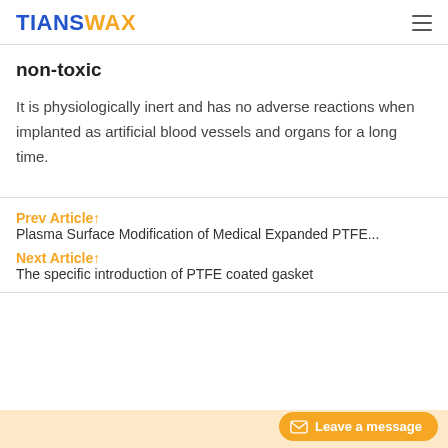TIANSWAX
non-toxic
It is physiologically inert and has no adverse reactions when implanted as artificial blood vessels and organs for a long time.
Prev Article↑
Plasma Surface Modification of Medical Expanded PTFE...
Next Article↑
The specific introduction of PTFE coated gasket
Leave a message